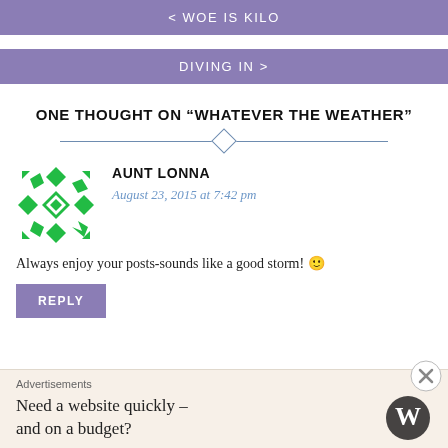< WOE IS KILO
DIVING IN >
ONE THOUGHT ON “WHATEVER THE WEATHER”
AUNT LONNA
August 23, 2015 at 7:42 pm
Always enjoy your posts-sounds like a good storm! 🙂
REPLY
Advertisements
Need a website quickly – and on a budget?